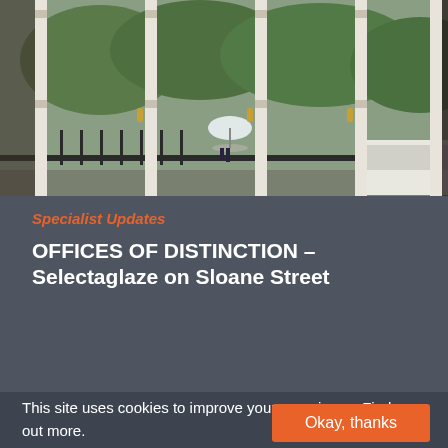[Figure (photo): Interior view through open white-framed folding/sliding glass doors looking out onto a rainy street scene with green trees, iron railings, a person with a white umbrella, and a white van on the right side.]
Specialist Updates
OFFICES OF DISTINCTION – Selectaglaze on Sloane Street
10 April 2015
This site uses cookies to improve your experience. Find out more.